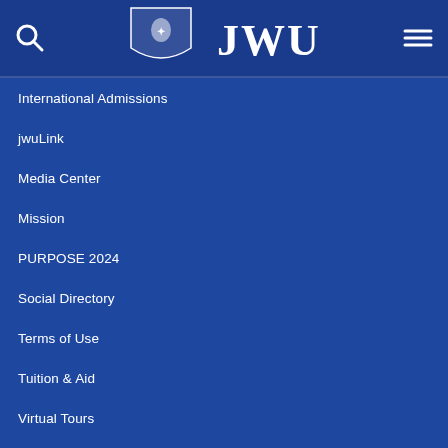[Figure (logo): JWU (Johnson & Wales University) logo with shield/crest and text JWU in white on dark blue background, with search icon on left and hamburger menu on right]
International Admissions
jwuLink
Media Center
Mission
PURPOSE 2024
Social Directory
Terms of Use
Tuition & Aid
Virtual Tours
Wildcat Gear
Contact Us